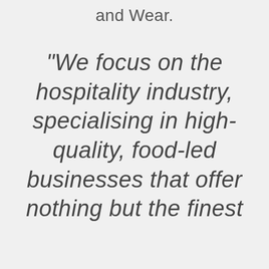and Wear.
"We focus on the hospitality industry, specialising in high-quality, food-led businesses that offer nothing but the finest